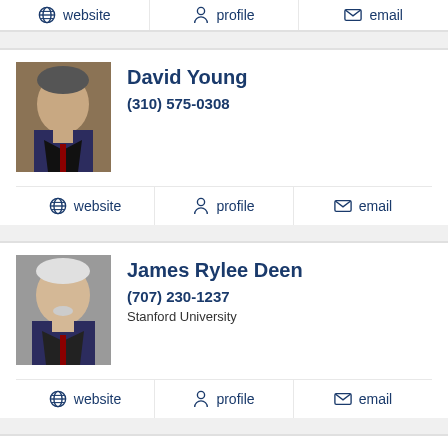website | profile | email
David Young
(310) 575-0308
website | profile | email
James Rylee Deen
(707) 230-1237
Stanford University
website | profile | email
William Markham
(619) 221-4400